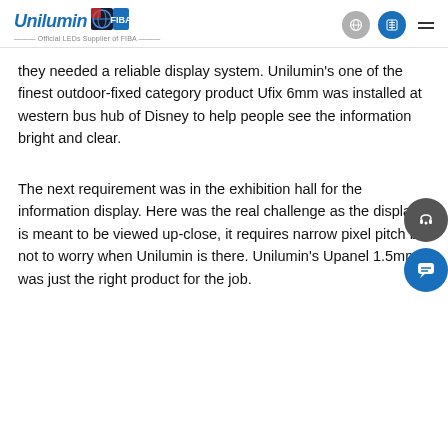Unilumin — Official LEDs Supplier of FIBA
they needed a reliable display system. Unilumin's one of the finest outdoor-fixed category product Ufix 6mm was installed at western bus hub of Disney to help people see the information bright and clear.
The next requirement was in the exhibition hall for the information display. Here was the real challenge as the display is meant to be viewed up-close, it requires narrow pixel pitch but not to worry when Unilumin is there. Unilumin's Upanel 1.5mm was just the right product for the job.